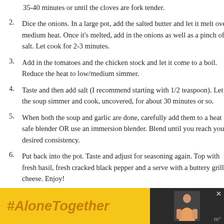35-40 minutes or until the cloves are fork tender.
Dice the onions. In a large pot, add the salted butter and let it melt over medium heat. Once it’s melted, add in the onions as well as a pinch of salt. Let cook for 2-3 minutes.
Add in the tomatoes and the chicken stock and let it come to a boil. Reduce the heat to low/medium simmer.
Taste and then add salt (I recommend starting with 1/2 teaspoon). Let the soup simmer and cook, uncovered, for about 30 minutes or so.
When both the soup and garlic are done, carefully add them to a heat safe blender OR use an immersion blender. Blend until you reach your desired consistency.
Put back into the pot. Taste and adjust for seasoning again. Top with fresh basil, fresh cracked black pepper and a serve with a buttery grilled cheese. Enjoy!
[Figure (screenshot): Advertisement banner at bottom of page with '#AloneTogether' text in bold italic orange on yellow background, with a woman in kitchen image on dark right side, and close X buttons.]